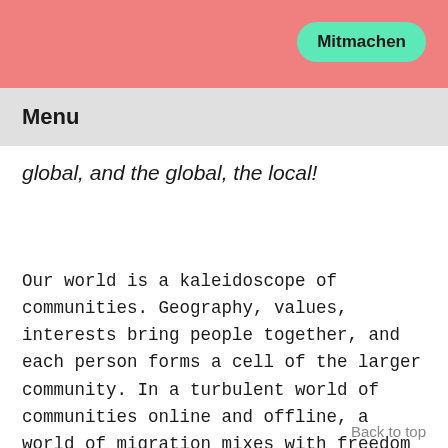Mitmachen
Menu
global, and the global, the local!
Our world is a kaleidoscope of communities. Geography, values, interests bring people together, and each person forms a cell of the larger community. In a turbulent world of communities online and offline, a world of migration mixes with freedom of movement for the privileged few. However, what has this meant for the new type of communities † arising in the 21st Century? A changing world
Back to top